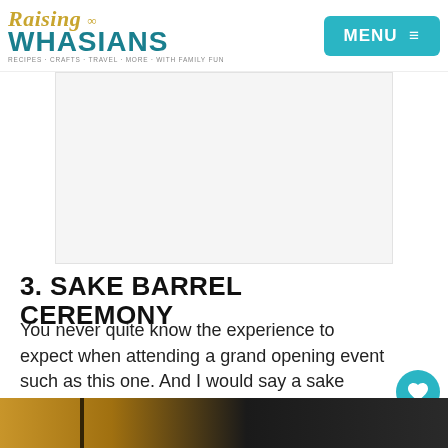Raising Whasians — MENU
[Figure (other): Advertisement placeholder area, light gray background]
3. SAKE BARREL CEREMONY
You never quite know the experience to expect when attending a grand opening event such as this one. And I would say a sake barrel and mallet ceremony definitely set the tone. Toasting to the guests, Morimoto ended his speech with grand style.
[Figure (photo): Bottom strip of a photo showing a dark object against a warm golden/amber background, partially visible]